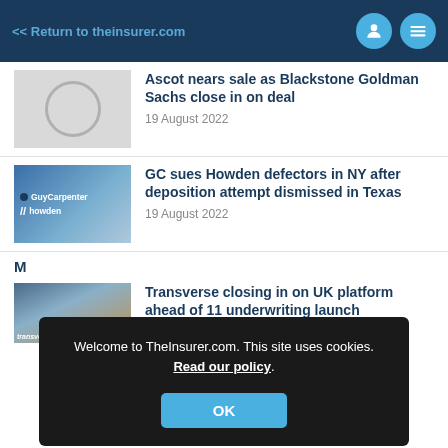<< Return to theinsurer.com
Ascot nears sale as Blackstone Goldman Sachs close in on deal
19 August 2022
GC sues Howden defectors in NY after deposition attempt dismissed in Texas
19 August 2022
Welcome to TheInsurer.com. This site uses cookies. Read our policy.
OK
M
Transverse closing in on UK platform ahead of 11 underwriting launch